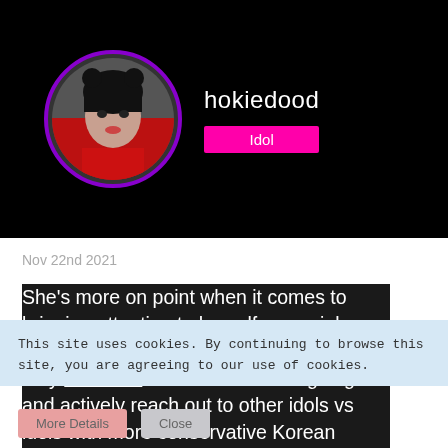[Figure (photo): User profile avatar showing a young woman with dark hair in buns, wearing a red outfit, with a purple circular border. Username 'hokiedood' shown next to it with a pink 'Idol' badge.]
Nov 22nd 2021
She's more on point when it comes to bringing attention to herself on social media IMO. I suspect her Western dad may influence her to be more outgoing and actively reach out to other idols vs idols with more conservative Korean upbringings who may be more hesitant to reach out to everyone they know.
This site uses cookies. By continuing to browse this site, you are agreeing to our use of cookies.